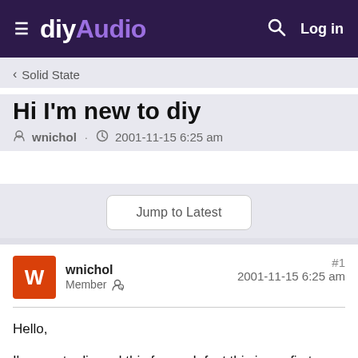diyAudio — Log in
< Solid State
Hi I'm new to diy
wnichol · 2001-11-15 6:25 am
Jump to Latest
wnichol  Member   #1  2001-11-15 6:25 am
Hello,

I'm new to diy and this forum. Infact this is my first thread. This may sound like a stupid question but where would be a good place to start building an amp? I am looking for information. Could anyone recommend a amp that would be a good starter project that is mainly on the inexpensive side. I am currently a